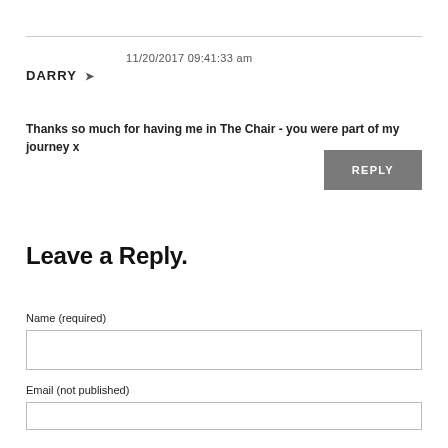DARRY ➤  11/20/2017 09:41:33 am
Thanks so much for having me in The Chair - you were part of my journey x
REPLY
Leave a Reply.
Name (required)
Email (not published)